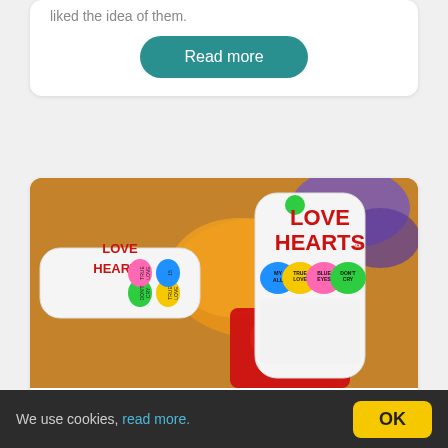liked the idea of them.
Read more
[Figure (photo): Close-up photo of Love Hearts candy rolls and other assorted sweets/candies in bright colours. Visible Love Hearts rolls show heart-shaped candies with messages like MY ALL, TRUE LOVE, BLUE EYES, DON'T CRY. A red Skittles bag is also visible.]
All the things to love about personalised gifts
We use cookies, read more. OK